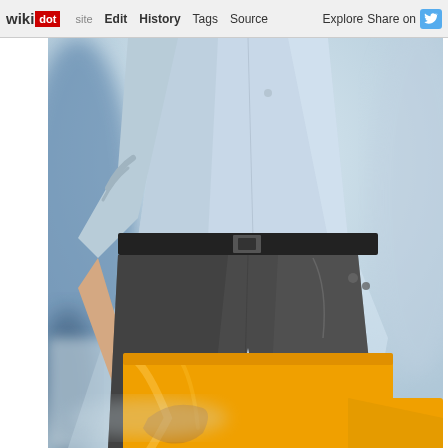wikidot | site | Edit | History | Tags | Source | Explore | Share on Twitter
[Figure (photo): Person wearing a light blue shirt and dark grey trousers holding an orange shopping bag, photographed from the torso down, blurred background with bokeh effect.]